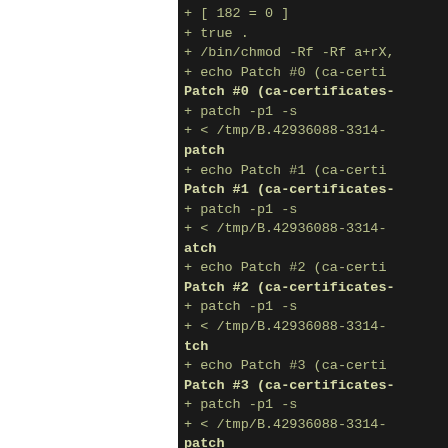[Figure (screenshot): Terminal/console output showing shell script execution with chmod, echo, and patch commands for ca-certificates patches #0 through #3. Left portion of screen is white (possibly a sidebar), right portion is dark terminal.]